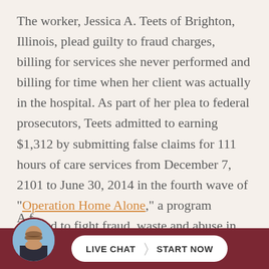The worker, Jessica A. Teets of Brighton, Illinois, plead guilty to fraud charges, billing for services she never performed and billing for time when her client was actually in the hospital. As part of her plea to federal prosecutors, Teets admitted to earning $1,312 by submitting false claims for 111 hours of care services from December 7, 2101 to June 30, 2014 in the fourth wave of "Operation Home Alone," a program enacted to fight fraud, waste and abuse in the Medicaid system.
[Figure (screenshot): Live chat widget with a man's photo avatar on the left and a white pill-shaped button reading 'LIVE CHAT > START NOW' on a dark red/maroon background bar at the bottom of the page.]